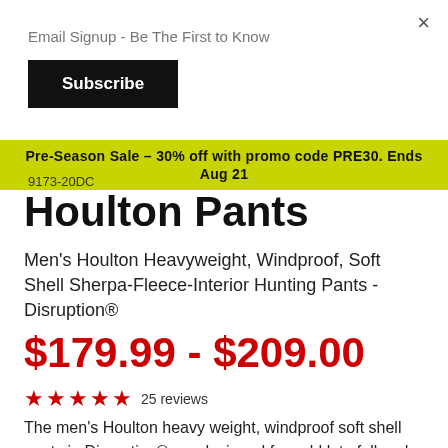×
Email Signup - Be The First to Know
Subscribe
Pre-Season Sale – 30% off with promo code PRE30. Ends Aug 21
9173-20DC
Houlton Pants
Men's Houlton Heavyweight, Windproof, Soft Shell Sherpa-Fleece-Interior Hunting Pants - Disruption®
$179.99 - $209.00
★★★★★ 25 reviews
The men's Houlton heavy weight, windproof soft shell pants in Disruption® are designed for cold late fall and